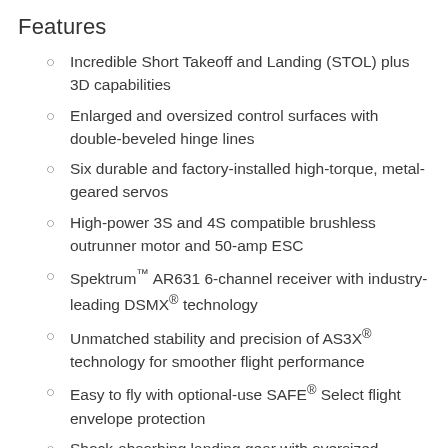Features
Incredible Short Takeoff and Landing (STOL) plus 3D capabilities
Enlarged and oversized control surfaces with double-beveled hinge lines
Six durable and factory-installed high-torque, metal-geared servos
High-power 3S and 4S compatible brushless outrunner motor and 50-amp ESC
Spektrum™ AR631 6-channel receiver with industry-leading DSMX® technology
Unmatched stability and precision of AS3X® technology for smoother flight performance
Easy to fly with optional-use SAFE® Select flight envelope protection
Shock-absorbing landing gear with oversized tundra-style wheels
Functional and factory-installed LED landing.